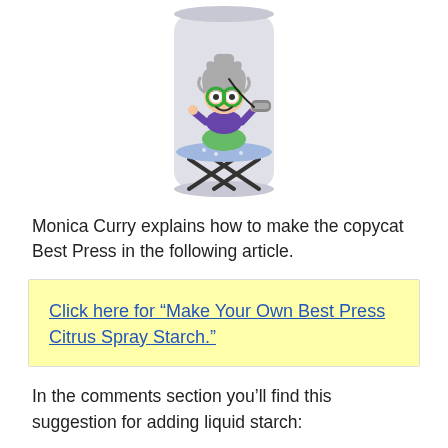[Figure (illustration): A cartoon illustration on a spray can showing an old woman with green glasses and wild gray hair, wearing a purple jacket and green skirt, standing on an ironing board with an iron.]
Monica Curry explains how to make the copycat Best Press in the following article.
Click here for “Make Your Own Best Press Citrus Spray Starch.”
In the comments section you’ll find this suggestion for adding liquid starch: